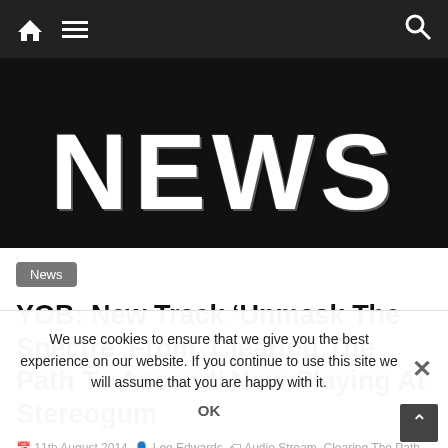Navigation bar with home icon, menu icon, and search icon
[Figure (illustration): NEWS text in large distressed/grunge white typography on black background]
News
YOB: New Track ‘Unmask The Spectre’ From ‘Clearing The Path To Ascend’ Now Playing At Stereogum
11th August 2014   Lee Edwards   Audio Stream, Clearing The Path To Ascend, Decibel, Decibel/Decibel, Metal, As Tourinas, News, Pallbearer, Pre-Orders, Release Annals, Stereogum, UK & Euro Tour 2014, Unmask The Spectre, Yob
We use cookies to ensure that we give you the best experience on our website. If you continue to use this site we will assume that you are happy with it.
OK